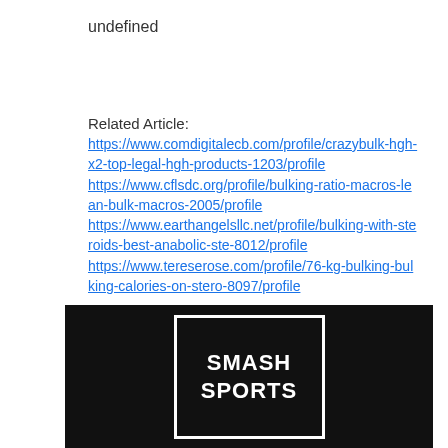undefined
Related Article:
https://www.comdigitalecb.com/profile/crazybulk-hgh-x2-top-legal-hgh-products-1203/profile
https://www.cflsdc.org/profile/bulking-ratio-macros-lean-bulk-macros-2005/profile
https://www.earthangelsllc.net/profile/bulking-with-steroids-best-anabolic-ste-8012/profile
https://www.tereserose.com/profile/76-kg-bulking-bulking-calories-on-stero-8097/profile
[Figure (logo): Smash Sports logo: white text 'SMASH SPORTS' in bold inside a white rectangle border on a black background]